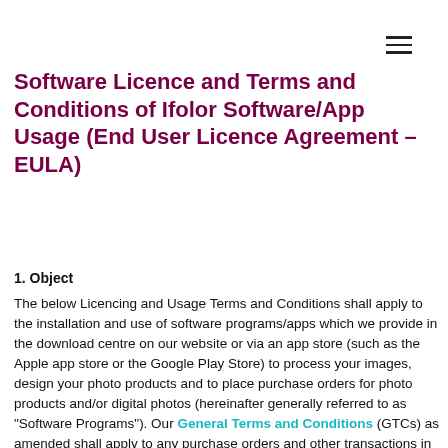≡
Software Licence and Terms and Conditions of Ifolor Software/App Usage (End User Licence Agreement – EULA)
1. Object
The below Licencing and Usage Terms and Conditions shall apply to the installation and use of software programs/apps which we provide in the download centre on our website or via an app store (such as the Apple app store or the Google Play Store) to process your images, design your photo products and to place purchase orders for photo products and/or digital photos (hereinafter generally referred to as "Software Programs"). Our General Terms and Conditions (GTCs) as amended shall apply to any purchase orders and other transactions in relation to our products and